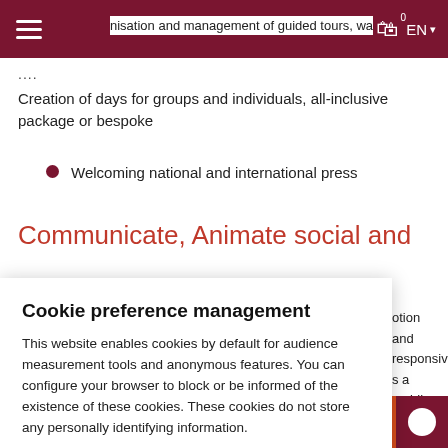nisation and management of guided tours, wa...
....
Creation of days for groups and individuals, all-inclusive package or bespoke
Welcoming national and international press
Communicate, Animate social and
Cookie preference management
This website enables cookies by default for audience measurement tools and anonymous features. You can configure your browser to block or be informed of the existence of these cookies. These cookies do not store any personally identifying information.
Read more
otion and responsive s a mobile n.
No thanks
I choose
Ok for me